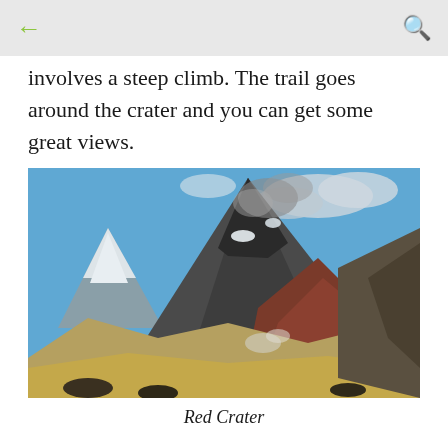← (back) | 🔍 (search)
involves a steep climb. The trail goes around the crater and you can get some great views.
[Figure (photo): Photograph of Red Crater, showing a steep volcanic mountain peak with dark rocky slopes, patches of snow and steam, reddish-brown crater area in the foreground, blue sky with clouds, and a snow-capped mountain in the background left.]
Red Crater